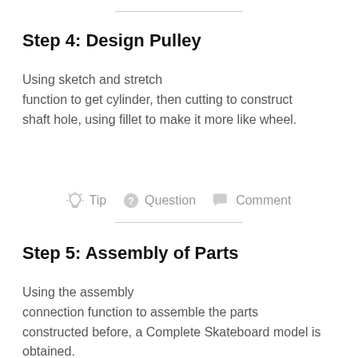Step 4: Design Pulley
Using sketch and stretch function to get cylinder, then cutting to construct shaft hole, using fillet to make it more like wheel.
Tip  Question  Comment
Step 5: Assembly of Parts
Using the assembly connection function to assemble the parts constructed before, a Complete Skateboard model is obtained.